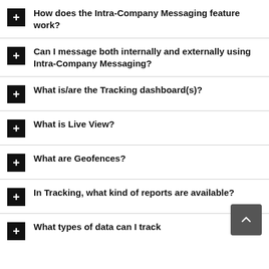How does the Intra-Company Messaging feature work?
Can I message both internally and externally using Intra-Company Messaging?
What is/are the Tracking dashboard(s)?
What is Live View?
What are Geofences?
In Tracking, what kind of reports are available?
What types of data can I track